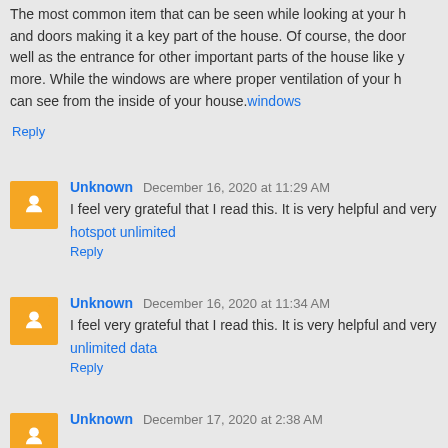The most common item that can be seen while looking at your [house] and doors making it a key part of the house. Of course, the door[s] well as the entrance for other important parts of the house like y[our] more. While the windows are where proper ventilation of your h[ouse] can see from the inside of your house.windows
Reply
Unknown  December 16, 2020 at 11:29 AM
I feel very grateful that I read this. It is very helpful and very infor[mative]
hotspot unlimited
Reply
Unknown  December 16, 2020 at 11:34 AM
I feel very grateful that I read this. It is very helpful and very infor[mative]
unlimited data
Reply
Unknown  December 17, 2020 at 2:38 AM